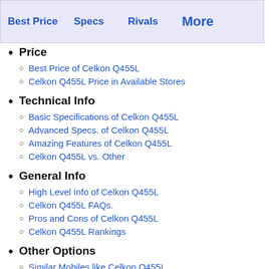Best Price  Specs  Rivals  More
Price
Best Price of Celkon Q455L
Celkon Q455L Price in Available Stores
Technical Info
Basic Specifications of Celkon Q455L
Advanced Specs. of Celkon Q455L
Amazing Features of Celkon Q455L
Celkon Q455L vs. Other
General Info
High Level Info of Celkon Q455L
Celkon Q455L FAQs.
Pros and Cons of Celkon Q455L
Celkon Q455L Rankings
Other Options
Similar Mobiles like Celkon Q455L